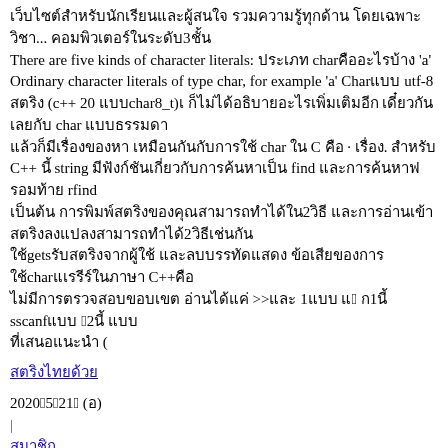There are five kinds of character literals: char 'a' Ordinary character literals of type char, for example 'a' Char utf-8 (c++ 20 char8_t) C++ string find rfind gets char C++ >> 1 1 sscanf 2 (
link text
202005021 ()
|
link
|
UQ25 CHEMISE link
TClink
body text paragraph ... 6